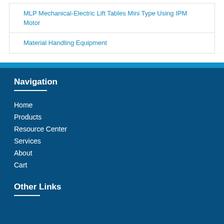MLP Mechanical-Electric Lift Tables Mini Type Using IPM Motor
Material Handling Equipment
Navigation
Home
Products
Resource Center
Services
About
Cart
Other Links